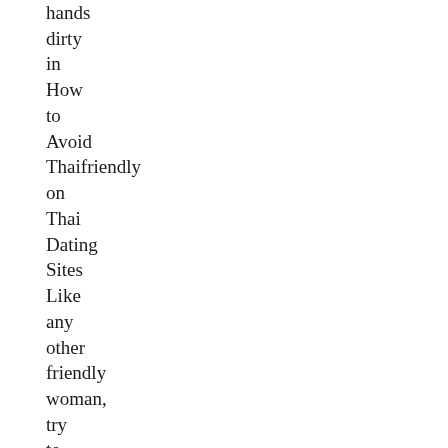hands dirty in How to Avoid Thaifriendly on Thai Dating Sites Like any other friendly woman, try to make a difference between falling in love